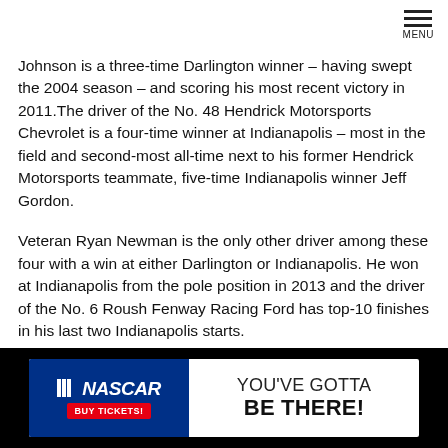Johnson is a three-time Darlington winner – having swept the 2004 season – and scoring his most recent victory in 2011.The driver of the No. 48 Hendrick Motorsports Chevrolet is a four-time winner at Indianapolis – most in the field and second-most all-time next to his former Hendrick Motorsports teammate, five-time Indianapolis winner Jeff Gordon.
Veteran Ryan Newman is the only other driver among these four with a win at either Darlington or Indianapolis. He won at Indianapolis from the pole position in 2013 and the driver of the No. 6 Roush Fenway Racing Ford has top-10 finishes in his last two Indianapolis starts.
Historically speaking, Newman counts Darlington as one of his better tracks as well. Although he doesn't have a win to his credit, he does have a series-best 13 top-10 finishes along with seven top
[Figure (infographic): NASCAR advertisement banner: NASCAR logo with BUY TICKETS button on blue background, text YOU'VE GOTTA BE THERE! on white background]